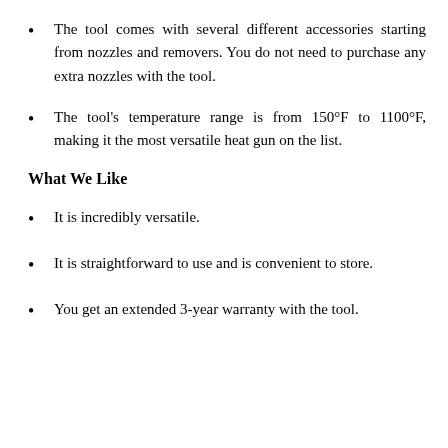The tool comes with several different accessories starting from nozzles and removers. You do not need to purchase any extra nozzles with the tool.
The tool's temperature range is from 150°F to 1100°F, making it the most versatile heat gun on the list.
What We Like
It is incredibly versatile.
It is straightforward to use and is convenient to store.
You get an extended 3-year warranty with the tool.